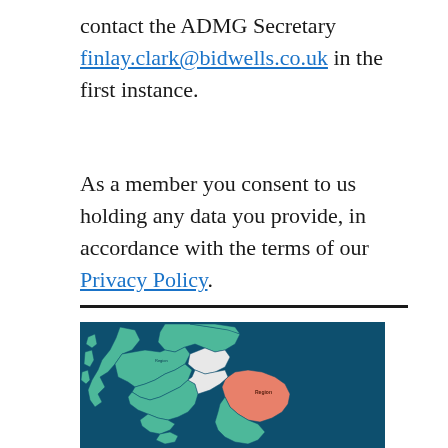contact the ADMG Secretary finlay.clark@bidwells.co.uk in the first instance.
As a member you consent to us holding any data you provide, in accordance with the terms of our Privacy Policy.
[Figure (map): Map of Scotland showing regions, with one large region highlighted in salmon/orange-red color on the east side, and other regions in green, on a dark teal background.]